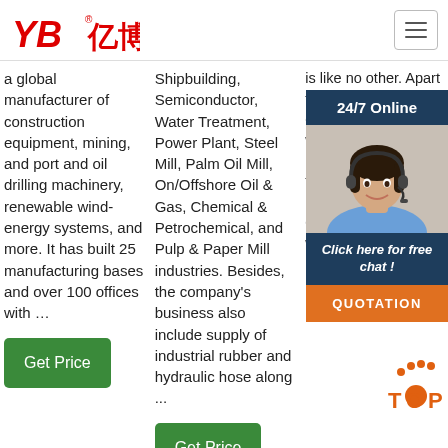[Figure (logo): YB亿博 company logo in red italic text]
a global manufacturer of construction equipment, mining, and port and oil drilling machinery, renewable wind-energy systems, and more. It has built 25 manufacturing bases and over 100 offices with …
Shipbuilding, Semiconductor, Water Treatment, Power Plant, Steel Mill, Palm Oil Mill, On/Offshore Oil & Gas, Chemical & Petrochemical, and Pulp & Paper Mill industries. Besides, the company's business also include supply of industrial rubber and hydraulic hose along ...
is like no other. Apart from tower cra and con the incl ran mo with exc loa trac loa handlers and dumper trucks. For special underground engineering projects, we supply ...
[Figure (infographic): 24/7 Online chat widget showing a customer service agent photo with options to click for free chat and a QUOTATION button]
Get Price
Get Price